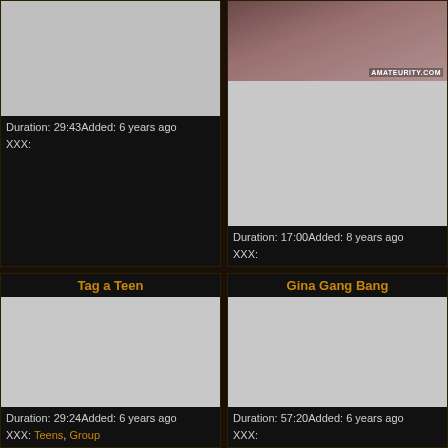[Figure (screenshot): Video thumbnail placeholder - gray rectangle, top-left card]
Duration: 29:43Added: 6 years ago
XXX:
[Figure (photo): Video thumbnail with partial photo visible, watermark AMATEURITY.COM]
Duration: 17:00Added: 8 years ago
XXX:
Tag a Teen
[Figure (screenshot): Video thumbnail placeholder - gray rectangle, bottom-left card]
Duration: 29:24Added: 6 years ago
XXX: Teens, Group
Gina Gang Bang
[Figure (screenshot): Video thumbnail placeholder - gray rectangle, bottom-right card]
Duration: 57:20Added: 6 years ago
XXX: